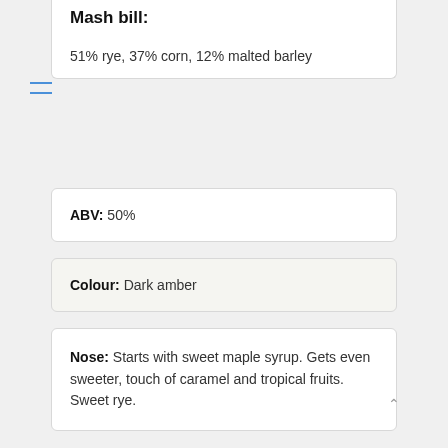Mash bill:
51% rye, 37% corn, 12% malted barley
ABV: 50%
Colour: Dark amber
Nose: Starts with sweet maple syrup. Gets even sweeter, touch of caramel and tropical fruits. Sweet rye.
Taste: Sweet, dark and sugary rye, you could chew